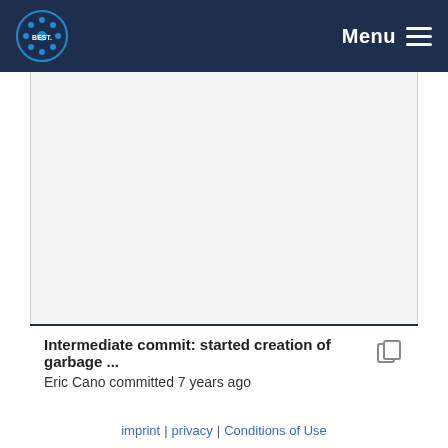Menu
[Figure (other): Large blank/empty white-gray content area placeholder representing a code viewer or diff panel]
Intermediate commit: started creation of garbage ... Eric Cano committed 7 years ago
imprint | privacy | Conditions of Use